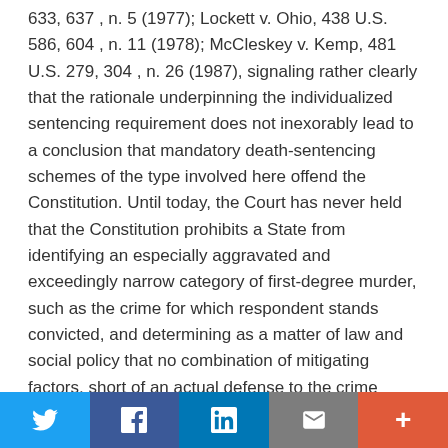633, 637 , n. 5 (1977); Lockett v. Ohio, 438 U.S. 586, 604 , n. 11 (1978); McCleskey v. Kemp, 481 U.S. 279, 304 , n. 26 (1987), signaling rather clearly that the rationale underpinning the individualized sentencing requirement does not inexorably lead to a conclusion that mandatory death-sentencing schemes of the type involved here offend the Constitution. Until today, the Court has never held that the Constitution prohibits a State from identifying an especially aggravated and exceedingly narrow category of first-degree murder, such as the crime for which respondent stands convicted, and determining as a matter of law and social policy that no combination of mitigating factors, short of an actual defense to the crime charged, could ever warrant reduction of a sentence of death. I thus do not accept the majority's assertion that "[t]he fact that a life-term inmate is convicted of murder does not reflect whether any
Social share bar with Twitter, Facebook, LinkedIn, Email, and More buttons